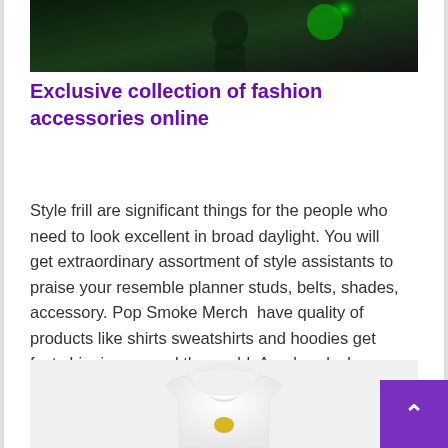[Figure (photo): Dark image of a person with green glow/light effect in background]
Exclusive collection of fashion accessories online
Style frill are significant things for the people who need to look excellent in broad daylight. You will get extraordinary assortment of style assistants to praise your resemble planner studs, belts, shades, accessory. Pop Smoke Merch  have quality of products like shirts sweatshirts and hoodies get fast shipping around the world. Arm bands, leg wear, […]
[Figure (photo): White hoodie with small logo on front, displayed on white background]